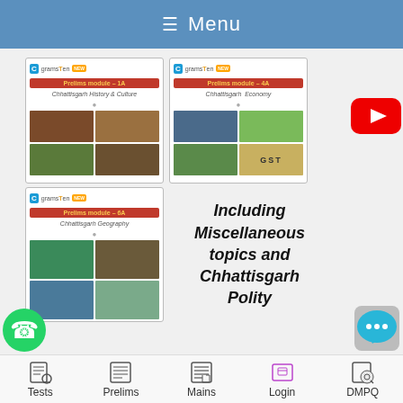≡ Menu
[Figure (screenshot): Book card: Prelims module – 1A, Chhattisgarh History & Culture, with 4 thumbnail images]
[Figure (screenshot): Book card: Prelims module – 4A, Chhattisgarh Economy, with 4 thumbnail images including GST]
[Figure (screenshot): Book card: Prelims module – 6A, Chhattisgarh Geography, with 4 thumbnail images]
Including Miscellaneous topics and Chhattisgarh Polity
[Figure (logo): YouTube play button icon (red)]
[Figure (logo): WhatsApp icon (green)]
[Figure (logo): Chat bubble icon (blue/teal)]
Tests  Prelims  Mains  Login  DMPQ